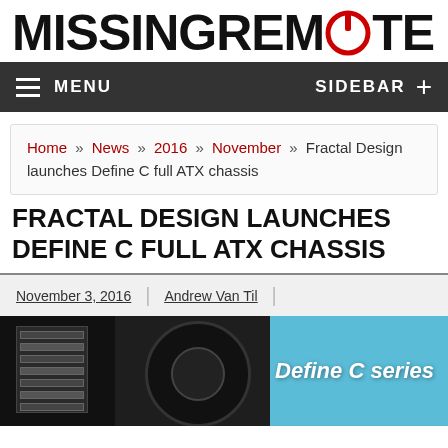MISSINGREMOTE
MENU   SIDEBAR +
Home » News » 2016 » November » Fractal Design launches Define C full ATX chassis
FRACTAL DESIGN LAUNCHES DEFINE C FULL ATX CHASSIS
November 3, 2016 | Andrew Van Til |
[Figure (photo): Fractal Design Define C series PC case product photo with light blue background, showing the dark PC chassis with expansion slots and fan on the left, and 'Define C series' text on the right]